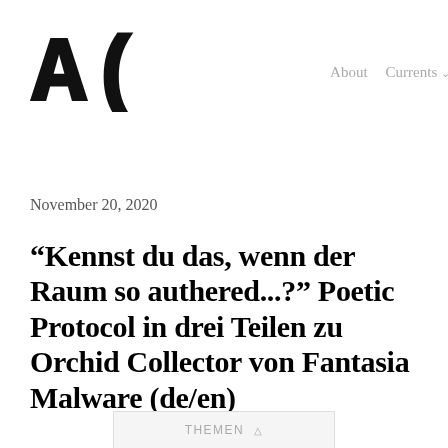[Figure (logo): Hand-drawn style logo showing the letters A( ) in bold sketch font]
About   Currents ∨
November 20, 2020
“Kennst du das, wenn der Raum so authered…?” Poetic Protocol in drei Teilen zu Orchid Collector von Fantasia Malware (de/en)
THEMEN △